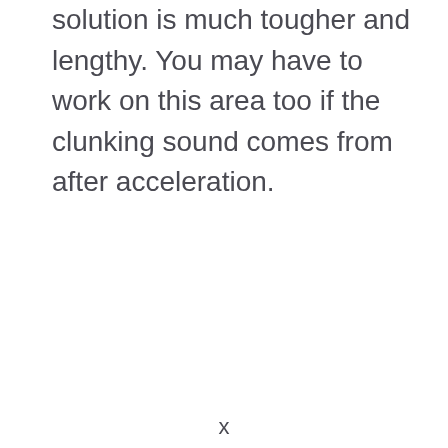solution is much tougher and lengthy. You may have to work on this area too if the clunking sound comes from after acceleration.
x